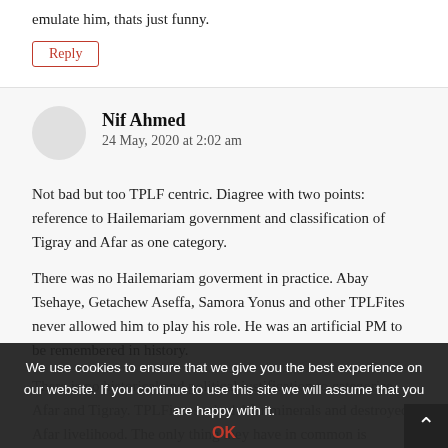emulate him, thats just funny.
Reply
Nif Ahmed
24 May, 2020 at 2:02 am
Not bad but too TPLF centric. Diagree with two points: reference to Hailemariam government and classification of Tigray and Afar as one category.
There was no Hailemariam goverment in practice. Abay Tsehaye, Getachew Aseffa, Samora Yonus and other TPLFites never allowed him to play his role. He was an artificial PM to be remembered in history.
There is no historical and political justification to categorise Afar and Tigray. TPLFites sucked Afar minerals and destroyed Afar livelihood. The only thing they have in common is boundry. Pretention and deception will no more work.
We use cookies to ensure that we give you the best experience on our website. If you continue to use this site we will assume that you are happy with it.
OK